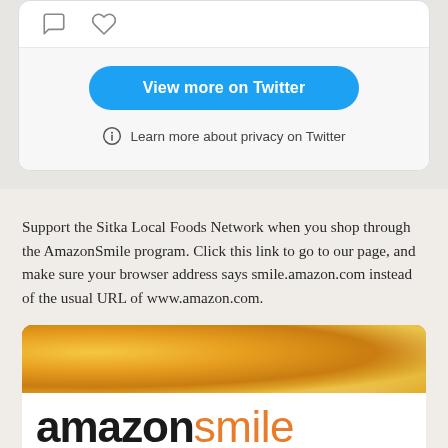[Figure (screenshot): Twitter embed widget showing comment and like icons, a blue 'View more on Twitter' button, and a privacy info link at the bottom.]
Support the Sitka Local Foods Network when you shop through the AmazonSmile program. Click this link to go to our page, and make sure your browser address says smile.amazon.com instead of the usual URL of www.amazon.com.
[Figure (logo): Amazon Smile logo with bokeh golden background at top and white bar below showing 'amazon smile' wordmark in black and orange.]